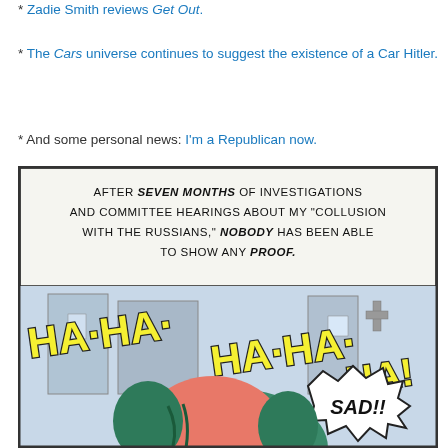* Zadie Smith reviews Get Out.
* The Cars universe continues to suggest the existence of a Car Hitler.
* And some personal news: I'm a Republican now.
[Figure (illustration): Comic panel showing a villain character with green hair and pink face laughing 'HA-HA-HA-HA-HA!' with a speech bubble saying 'SAD!!' The text above reads: 'AFTER SEVEN MONTHS OF INVESTIGATIONS AND COMMITTEE HEARINGS ABOUT MY "COLLUSION WITH THE RUSSIANS," NOBODY HAS BEEN ABLE TO SHOW ANY PROOF.']